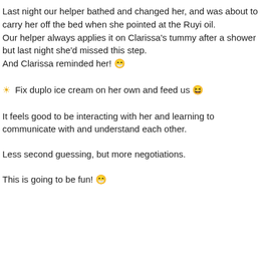Last night our helper bathed and changed her, and was about to carry her off the bed when she pointed at the Ruyi oil. Our helper always applies it on Clarissa's tummy after a shower but last night she'd missed this step. And Clarissa reminded her! 😁
☀ Fix duplo ice cream on her own and feed us 😆
It feels good to be interacting with her and learning to communicate with and understand each other.
Less second guessing, but more negotiations.
This is going to be fun! 😁